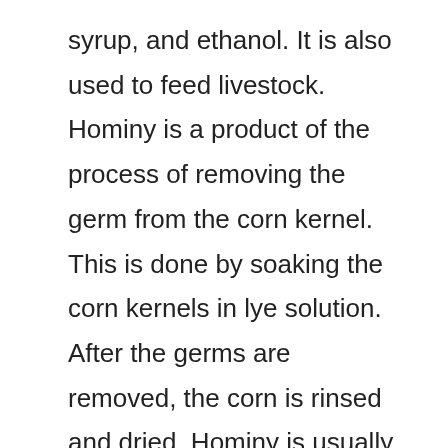syrup, and ethanol. It is also used to feed livestock. Hominy is a product of the process of removing the germ from the corn kernel. This is done by soaking the corn kernels in lye solution. After the germs are removed, the corn is rinsed and dried. Hominy is usually sold in cans. It is available in two forms – whole and ground. Whole hominy is soaked in water overnight and then cooked until soft. Ground hominy is simply hominy